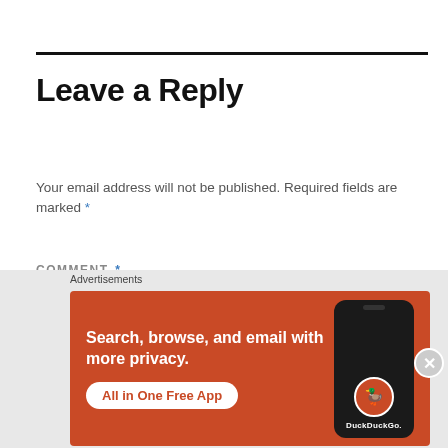Leave a Reply
Your email address will not be published. Required fields are marked *
COMMENT *
[Figure (screenshot): Empty comment text area input box with light border]
Advertisements
[Figure (infographic): DuckDuckGo advertisement banner: orange background with text 'Search, browse, and email with more privacy. All in One Free App' alongside a dark phone mockup showing DuckDuckGo logo]